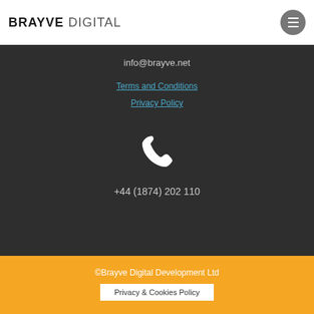BRAYVE DIGITAL
info@brayve.net
Terms and Conditions
Privacy Policy
[Figure (illustration): White phone handset icon]
+44 (1874) 202 110
©Brayve Digital Development Ltd
Privacy & Cookies Policy